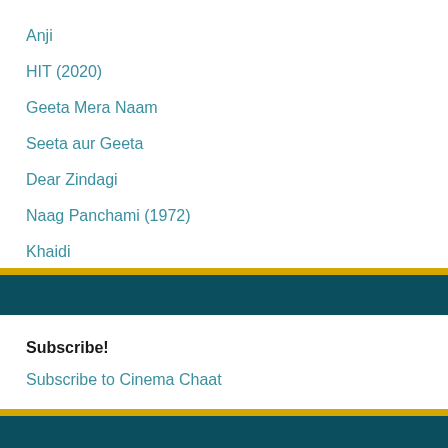Anji
HIT (2020)
Geeta Mera Naam
Seeta aur Geeta
Dear Zindagi
Naag Panchami (1972)
Khaidi
Kalicharan (1976)
Subscribe!
Subscribe to Cinema Chaat